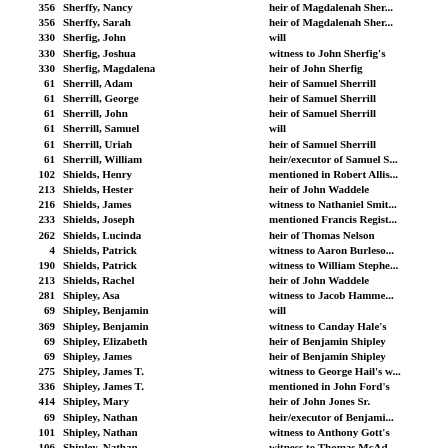| Page | Name | Description |
| --- | --- | --- |
| 356 | Sherffy, Nancy | heir of Magdalenah Sher... |
| 356 | Sherffy, Sarah | heir of Magdalenah Sher... |
| 330 | Sherfig, John | will |
| 330 | Sherfig, Joshua | witness to John Sherfig's |
| 330 | Sherfig, Magdalena | heir of John Sherfig |
| 61 | Sherrill, Adam | heir of Samuel Sherrill |
| 61 | Sherrill, George | heir of Samuel Sherrill |
| 61 | Sherrill, John | heir of Samuel Sherrill |
| 61 | Sherrill, Samuel | will |
| 61 | Sherrill, Uriah | heir of Samuel Sherrill |
| 61 | Sherrill, William | heir/executor of Samuel S... |
| 102 | Shields, Henry | mentioned in Robert Allis... |
| 213 | Shields, Hester | heir of John Waddele |
| 216 | Shields, James | witness to Nathaniel Smit... |
| 233 | Shields, Joseph | mentioned Francis Regist... |
| 262 | Shields, Lucinda | heir of Thomas Nelson |
| 4 | Shields, Patrick | witness to Aaron Burleso... |
| 190 | Shields, Patrick | witness to William Stephe... |
| 213 | Shields, Rachel | heir of John Waddele |
| 281 | Shipley, Asa | witness to Jacob Hamme... |
| 69 | Shipley, Benjamin | will |
| 369 | Shipley, Benjamin | witness to Canday Hale's |
| 69 | Shipley, Elizabeth | heir of Benjamin Shipley |
| 69 | Shipley, James | heir of Benjamin Shipley |
| 275 | Shipley, James T. | witness to George Hail's w... |
| 336 | Shipley, James T. | mentioned in John Ford's |
| 414 | Shipley, Mary | heir of John Jones Sr. |
| 69 | Shipley, Nathan | heir/executor of Benjami... |
| 101 | Shipley, Nathan | witness to Anthony Gott's |
| 106 | Shipley, Nathan | witness to Thomas McAd... |
| 139 | Shipley, Nathan | witness to Isaac White's w... |
| 200 | Shipley, Nathan | executor of Jonathan Mu... |
| 215 | Shipley, Nathan | witness to Jonathan Tuck... |